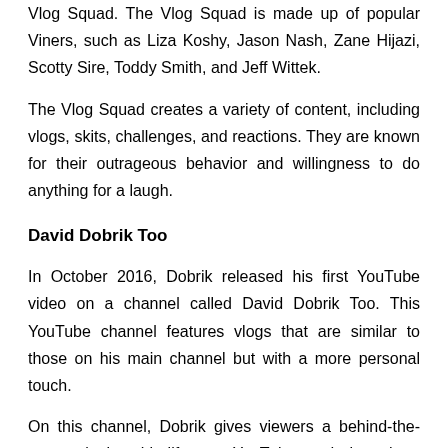Vlog Squad. The Vlog Squad is made up of popular Viners, such as Liza Koshy, Jason Nash, Zane Hijazi, Scotty Sire, Toddy Smith, and Jeff Wittek.
The Vlog Squad creates a variety of content, including vlogs, skits, challenges, and reactions. They are known for their outrageous behavior and willingness to do anything for a laugh.
David Dobrik Too
In October 2016, Dobrik released his first YouTube video on a channel called David Dobrik Too. This YouTube channel features vlogs that are similar to those on his main channel but with a more personal touch.
On this channel, Dobrik gives viewers a behind-the-scenes look at his life as a YouTuber and gives them an